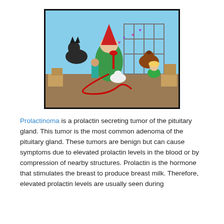[Figure (illustration): A colorful cartoon illustration featuring a large woman in a green dress and red pointed hat, a young boy in teal, a large dark dog, dogs in a cage, a white cat, and a blonde woman, all connected by a winding red line, set against a light blue background.]
Prolactinoma is a prolactin secreting tumor of the pituitary gland. This tumor is the most common adenoma of the pituitary gland. These tumors are benign but can cause symptoms due to elevated prolactin levels in the blood or by compression of nearby structures. Prolactin is the hormone that stimulates the breast to produce breast milk. Therefore, elevated prolactin levels are usually seen during